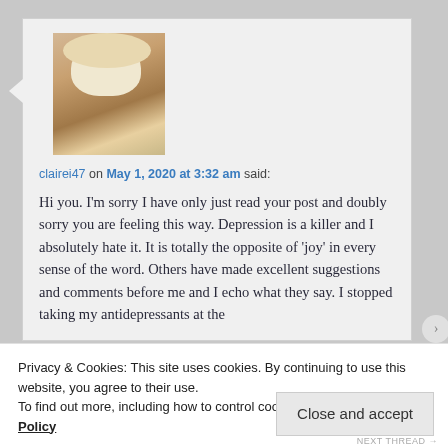[Figure (photo): Avatar photo of a coffee drink with whipped cream in a white mug]
clairei47 on May 1, 2020 at 3:32 am said:
Hi you. I'm sorry I have only just read your post and doubly sorry you are feeling this way. Depression is a killer and I absolutely hate it. It is totally the opposite of ‘joy’ in every sense of the word. Others have made excellent suggestions and comments before me and I echo what they say. I stopped taking my antidepressants at the
Privacy & Cookies: This site uses cookies. By continuing to use this website, you agree to their use.
To find out more, including how to control cookies, see here: Cookie Policy
Close and accept